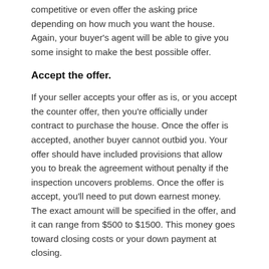competitive or even offer the asking price depending on how much you want the house. Again, your buyer's agent will be able to give you some insight to make the best possible offer.
Accept the offer.
If your seller accepts your offer as is, or you accept the counter offer, then you're officially under contract to purchase the house. Once the offer is accepted, another buyer cannot outbid you. Your offer should have included provisions that allow you to break the agreement without penalty if the inspection uncovers problems. Once the offer is accept, you'll need to put down earnest money. The exact amount will be specified in the offer, and it can range from $500 to $1500. This money goes toward closing costs or your down payment at closing.
Schedule an inspection.